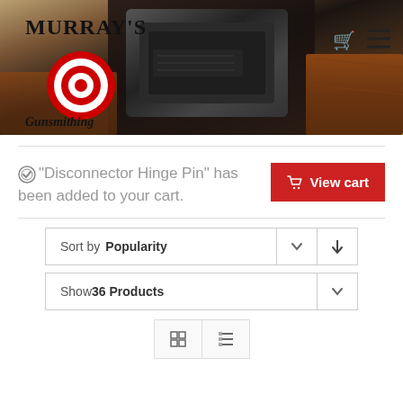[Figure (photo): Hero banner showing close-up of a rifle/shotgun mechanism with wooden stock, dark metallic action visible. Murray's Gunsmithing logo overlaid on left side with target/bullseye icon. Shopping cart icon and hamburger menu icon in top right corner.]
"Disconnector Hinge Pin" has been added to your cart.
View cart
Sort by Popularity
Show 36 Products